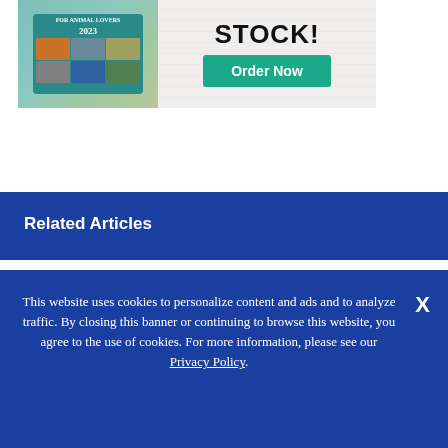[Figure (illustration): Advertisement banner showing a 2023 animal lovers calendar box on the left with animal photos, and on the right bold text 'STOCK!' with a teal 'Order Now' button, on a light wood-grain background.]
Related Articles
This website uses cookies to personalize content and ads and to analyze traffic. By closing this banner or continuing to browse this website, you agree to the use of cookies. For more information, please see our Privacy Policy.